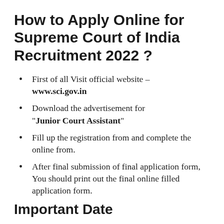How to Apply Online for Supreme Court of India Recruitment 2022 ?
First of all Visit official website – www.sci.gov.in
Download the advertisement for "Junior Court Assistant"
Fill up the registration from and complete the online from.
After final submission of final application form, You should print out the final online filled application form.
Important Date